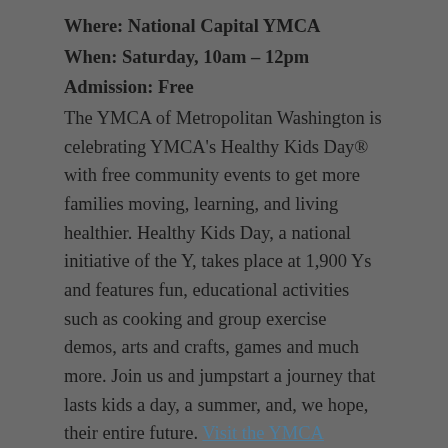Where: National Capital YMCA
When: Saturday, 10am – 12pm
Admission: Free
The YMCA of Metropolitan Washington is celebrating YMCA's Healthy Kids Day® with free community events to get more families moving, learning, and living healthier. Healthy Kids Day, a national initiative of the Y, takes place at 1,900 Ys and features fun, educational activities such as cooking and group exercise demos, arts and crafts, games and much more. Join us and jumpstart a journey that lasts kids a day, a summer, and, we hope, their entire future. Visit the YMCA website for information about events taking